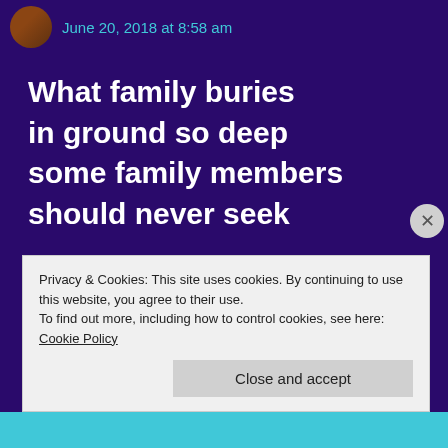June 20, 2018 at 8:58 am
What family buries
in ground so deep
some family members
should never seek
★ Like
Reply
Privacy & Cookies: This site uses cookies. By continuing to use this website, you agree to their use.
To find out more, including how to control cookies, see here: Cookie Policy
Close and accept